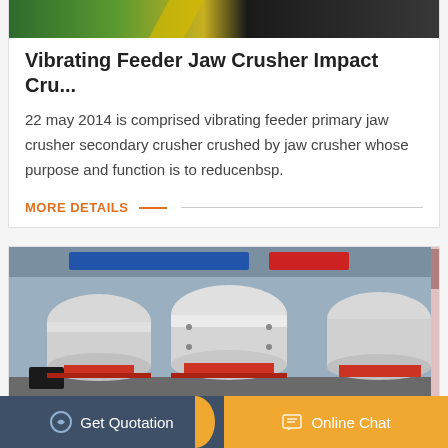[Figure (photo): Partial view of industrial crushing machinery at the top of card]
Vibrating Feeder Jaw Crusher Impact Cru...
22 may 2014 is comprised vibrating feeder primary jaw crusher secondary crusher crushed by jaw crusher whose purpose and function is to reducenbsp.
MORE DETAILS
[Figure (photo): Industrial cone crusher machines lined up in a factory/warehouse, white cylindrical bodies with red bases, Chinese signage in background]